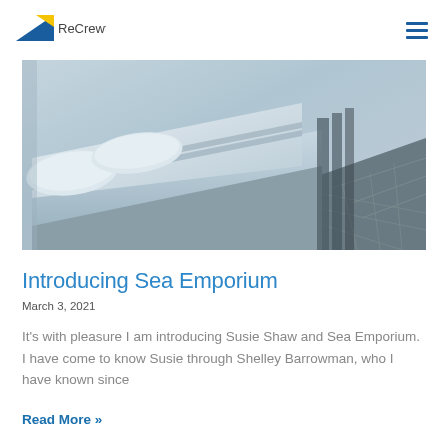ReCrewt
[Figure (photo): A hotel or cabin bed with white and light grey bedding and pillows, viewed from the side at an angle. Cobblestone or patterned floor visible to the right.]
Introducing Sea Emporium
March 3, 2021
It's with pleasure I am introducing Susie Shaw and Sea Emporium. I have come to know Susie through Shelley Barrowman, who I have known since
Read More »